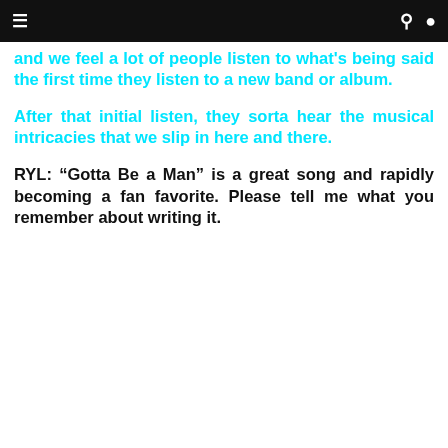≡  🔍 👤
and we feel a lot of people listen to what's being said the first time they listen to a new band or album.
After that initial listen, they sorta hear the musical intricacies that we slip in here and there.
RYL: “Gotta Be a Man” is a great song and rapidly becoming a fan favorite. Please tell me what you remember about writing it.